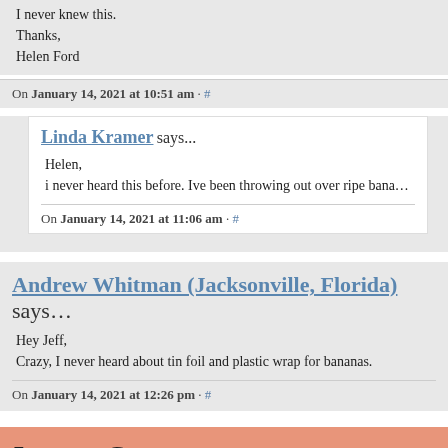I never knew this.
Thanks,
Helen Ford
On January 14, 2021 at 10:51 am · #
Linda Kramer says...
Helen,
i never heard this before. Ive been throwing out over ripe bana...
On January 14, 2021 at 11:06 am · #
Andrew Whitman (Jacksonville, Florida) says...
Hey Jeff,
Crazy, I never heard about tin foil and plastic wrap for bananas.
On January 14, 2021 at 12:26 pm · #
Leave a Comment
Name (required)